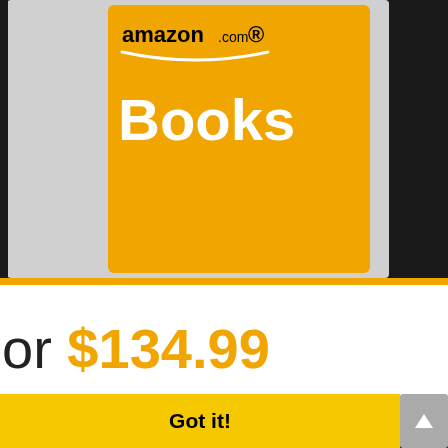[Figure (screenshot): Screenshot of Amazon shopping app showing Amazon Books logo (orange background with white 'Books' text and amazon.com branding) on left phone, and Amazon cookware product image on right phone, with orange horizontal bar at bottom of phones area]
or $134.99
This website uses cookies to ensure you get the best experience on our website.
Learn more
Got it!